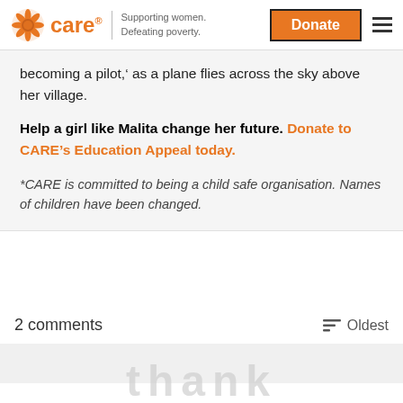CARE — Supporting women. Defeating poverty. | Donate
becoming a pilot,' as a plane flies across the sky above her village.
Help a girl like Malita change her future. Donate to CARE's Education Appeal today.
*CARE is committed to being a child safe organisation. Names of children have been changed.
2 comments   Oldest